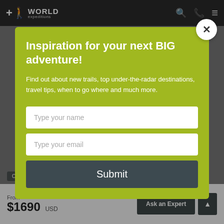[Figure (screenshot): World Expeditions website top navigation bar with logo, search, phone and menu icons]
Inspiration for your next BIG adventure!
Find out about new trails, top under-the-radar destinations, travel tips, when to go where and much more.
Type your name
Type your email
Submit
Cycling   Family Friendly   Electric Bikes
From
$1690 USD
Ask an Expert